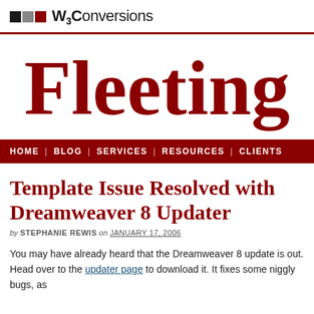W3Conversions
Fleeting
HOME | BLOG | SERVICES | RESOURCES | CLIENTS
Template Issue Resolved with Dreamweaver 8 Updater
by STEPHANIE REWIS on JANUARY 17, 2006
You may have already heard that the Dreamweaver 8 update is out. Head over to the updater page to download it. It fixes some niggly bugs, as well as other benefits as well.